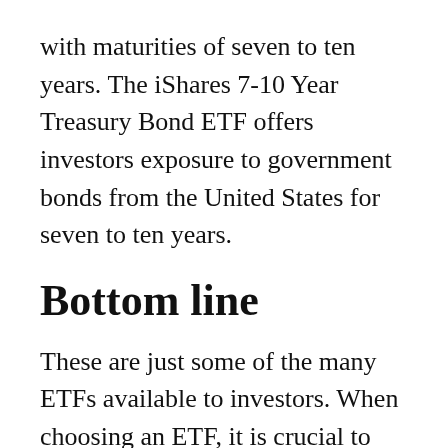with maturities of seven to ten years. The iShares 7-10 Year Treasury Bond ETF offers investors exposure to government bonds from the United States for seven to ten years.
Bottom line
These are just some of the many ETFs available to investors. When choosing an ETF, it is crucial to consider your investment objectives and risk tolerance. You should also consu with a financial advisor (follow this